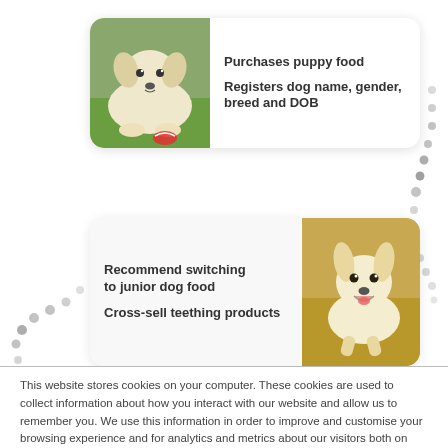[Figure (photo): White golden retriever puppy lying on grass with a toy]
Purchases puppy food
Registers dog name, gender, breed and DOB
[Figure (photo): Small white puppy running, mouth open, looking happy]
Recommend switching to junior dog food
Cross-sell teething products
This website stores cookies on your computer. These cookies are used to collect information about how you interact with our website and allow us to remember you. We use this information in order to improve and customise your browsing experience and for analytics and metrics about our visitors both on this website and other media. To find out more about the cookies we use, see our Privacy Policy.
Accept